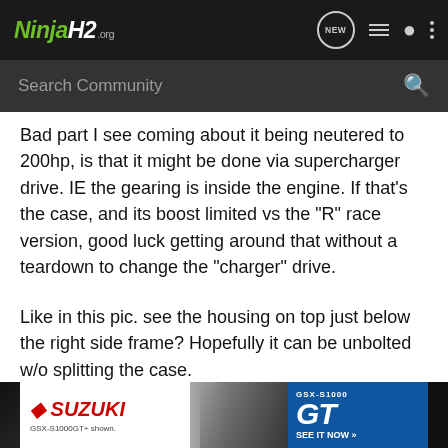NinjaH2.org — NEW, list, user, menu icons
Search Community
Bad part I see coming about it being neutered to 200hp, is that it might be done via supercharger drive. IE the gearing is inside the engine. If that's the case, and its boost limited vs the "R" race version, good luck getting around that without a teardown to change the "charger" drive.
Like in this pic. see the housing on top just below the right side frame? Hopefully it can be unbolted w/o splitting the case.
[Figure (photo): Partial view of a motorcycle engine/frame area, with a Suzuki GSX-S1000 GT advertisement banner overlaid at the bottom showing the motorcycle and blue panel with GT branding and 'SEE IT NOW >>' text.]